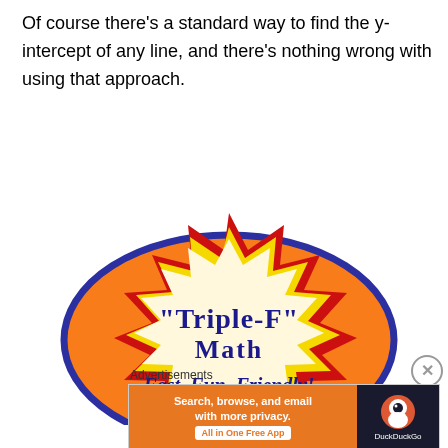Of course there's a standard way to find the y-intercept of any line, and there's nothing wrong with using that approach.
[Figure (logo): Triple-F Math logo: a starburst shape with red and yellow outlines on an orange circle with dark blue border. Text reads "Triple-F" Math Fast, Fun, Friendly! in dark blue and navy lettering on a cream background.]
Advertisements
[Figure (screenshot): DuckDuckGo advertisement banner: orange background with text 'Search, browse, and email with more privacy. All in One Free App' and DuckDuckGo logo on dark background.]